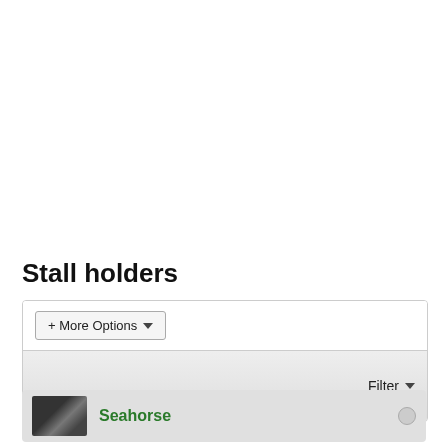Stall holders
+ More Options
Filter
Seahorse